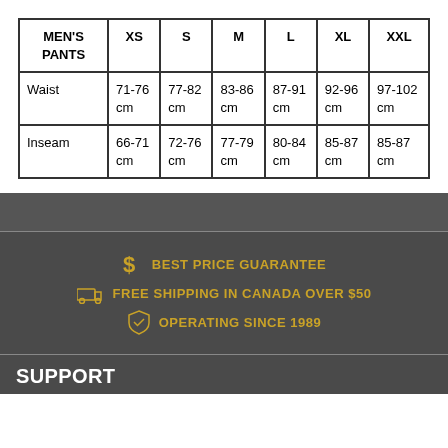| MEN'S PANTS | XS | S | M | L | XL | XXL |
| --- | --- | --- | --- | --- | --- | --- |
| Waist | 71-76 cm | 77-82 cm | 83-86 cm | 87-91 cm | 92-96 cm | 97-102 cm |
| Inseam | 66-71 cm | 72-76 cm | 77-79 cm | 80-84 cm | 85-87 cm | 85-87 cm |
$ BEST PRICE GUARANTEE
FREE SHIPPING IN CANADA OVER $50
OPERATING SINCE 1989
SUPPORT